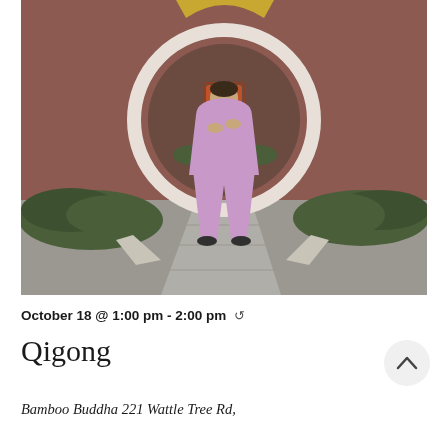[Figure (photo): Person dressed in a light purple/lavender traditional Chinese qigong outfit, standing in a pose with hands crossed over chest, in front of a circular moon gate doorway at a traditional Chinese temple or garden. Dark reddish-brown walls, green shrubs, stone pathway.]
October 18 @ 1:00 pm - 2:00 pm ↺
Qigong
Bamboo Buddha 221 Wattle Tree Rd,